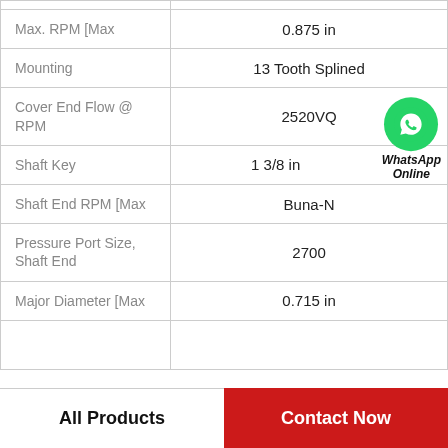| Property | Value |
| --- | --- |
| Max. RPM [Max | 0.875 in |
| Mounting | 13 Tooth Splined |
| Cover End Flow @ RPM | 2520VQ |
| Shaft Key | 1 3/8 in |
| Shaft End RPM [Max | Buna-N |
| Pressure Port Size, Shaft End | 2700 |
| Major Diameter [Max | 0.715 in |
|  |  |
All Products
Contact Now